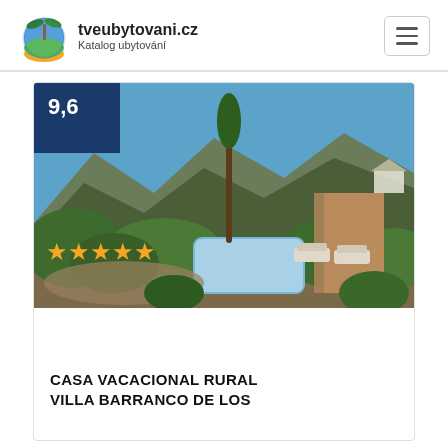tveubytovani.cz Katalog ubytování
[Figure (photo): Outdoor photo of a rural vacation house with a swimming pool, lounge chairs, lush green gardens, and mountains in the background under a clear blue sky. A dark blue rating badge showing 9,6 is in the top-left corner, and five gold stars are overlaid on the lower-left of the photo.]
CASA VACACIONAL RURAL VILLA BARRANCO DE LOS